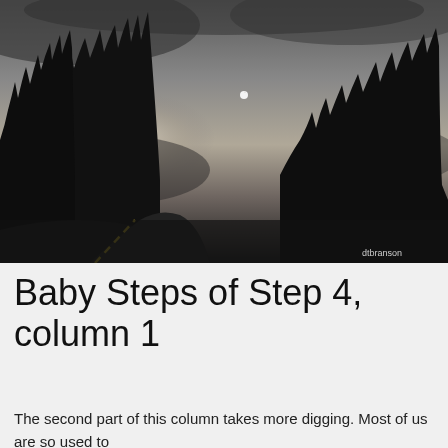[Figure (photo): Dark moody photograph of a road at dusk or dawn with silhouettes of tall conifer trees against a cloudy, overcast sky with a faint bright spot (moon or sun) visible through the clouds. Yellow road line visible at bottom left. Watermark 'dtbranson' in bottom right corner.]
Baby Steps of Step 4, column 1
The second part of this column takes more digging. Most of us are so used to